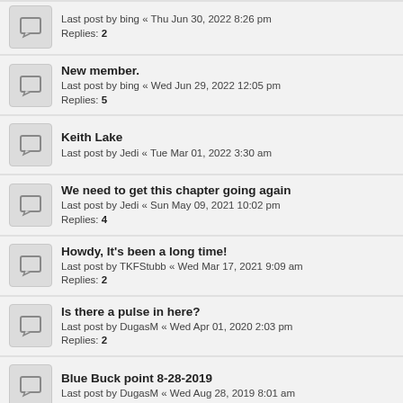Last post by bing « Thu Jun 30, 2022 8:26 pm
Replies: 2
New member.
Last post by bing « Wed Jun 29, 2022 12:05 pm
Replies: 5
Keith Lake
Last post by Jedi « Tue Mar 01, 2022 3:30 am
We need to get this chapter going again
Last post by Jedi « Sun May 09, 2021 10:02 pm
Replies: 4
Howdy, It's been a long time!
Last post by TKFStubb « Wed Mar 17, 2021 9:09 am
Replies: 2
Is there a pulse in here?
Last post by DugasM « Wed Apr 01, 2020 2:03 pm
Replies: 2
Blue Buck point 8-28-2019
Last post by DugasM « Wed Aug 28, 2019 8:01 am
Potential BTBers
Last post by YakMack « Thu Aug 22, 2019 3:54 pm
Replies: 1
Jetty Road
Last post by YakMack « Thu Jul 11, 2019 12:19 pm
The River may be back
Last post by lancetanner « Sun Jul 07, 2019 8:54 pm